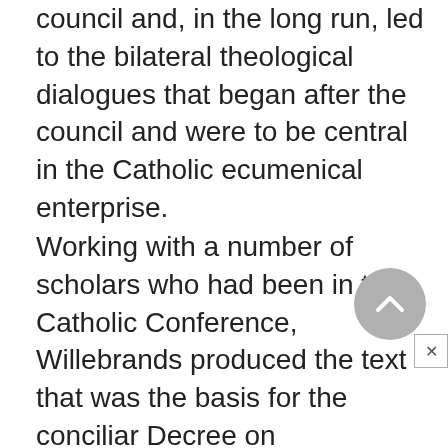council and, in the long run, led to the bilateral theological dialogues that began after the council and were to be central in the Catholic ecumenical enterprise.
Working with a number of scholars who had been in the Catholic Conference, Willebrands produced the text that was the basis for the conciliar Decree on Ecumenism, Unitatis Redintegratio. Willebrands also had major responsibility for the Declaration on Religious Liberty (Dignitatis